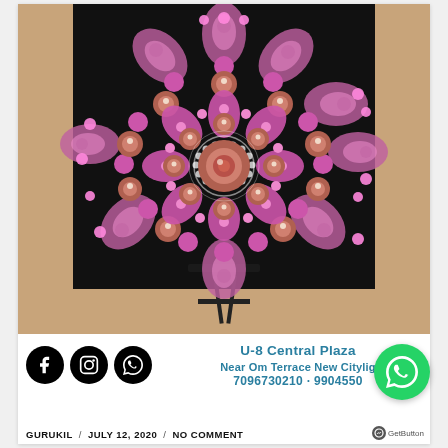[Figure (photo): A colorful pink and rose dot-painted mandala artwork on a black canvas, displayed on a small wooden easel on a wooden surface.]
U-8 Central Plaza
NEAR OM TERRACE NEW CITYLIG
7096730210 · 9904550
[Figure (infographic): Three social media circular black icons: Facebook (f), Instagram (camera), WhatsApp (phone handset)]
[Figure (infographic): Green circular WhatsApp floating button with white WhatsApp logo]
GURUKIL / JULY 12, 2020 / NO COMMENT
GetButton